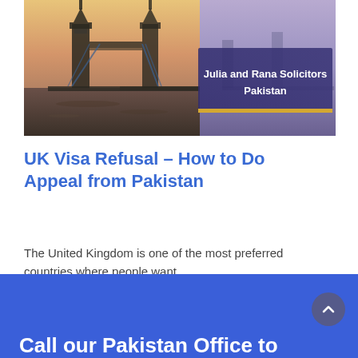[Figure (photo): Photo of Tower Bridge in London at dusk/golden hour, with an overlay panel on the right side showing text 'Julia and Rana Solicitors Pakistan' in white on a dark purple/navy background with a golden/yellow bottom border.]
UK Visa Refusal – How to Do Appeal from Pakistan
The United Kingdom is one of the most preferred countries where people want...
Call our Pakistan Office to